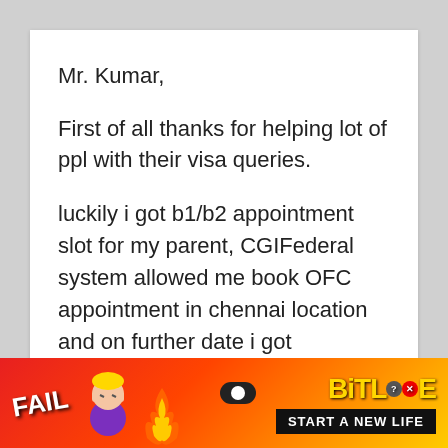Mr. Kumar,
First of all thanks for helping lot of ppl with their visa queries.
luckily i got b1/b2 appointment slot for my parent, CGIFederal system allowed me book OFC appointment in chennai location and on further date i got appointment slot for Consular interview, will this cause any issue ??
[Figure (illustration): Advertisement banner: red/orange/yellow fire background with 'FAIL' text, cartoon character, flames, BitLife logo with white circle, and 'START A NEW LIFE' tagline on black bar.]